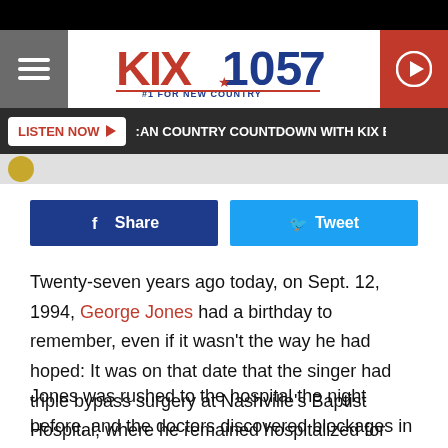[Figure (logo): KIX 105.7 - #1 For New Country radio station logo with hamburger menu and play button]
LISTEN NOW ▶  :AN COUNTRY COUNTDOWN WITH KIX BROOKS  A
[Figure (screenshot): Facebook Share and Twitter Tweet social sharing buttons]
Twenty-seven years ago today, on Sept. 12, 1994, George Jones had a birthday to remember, even if it wasn't the way he had hoped: It was on that date that the singer had triple bypass surgery at Nashville's Baptist Hospital, where he remained hospitalized for one week.
Jones was rushed to the hospital the night before, and the doctors discovered blockages in three of his arteries. But while the Possum may not have voluntarily chosen a hospital